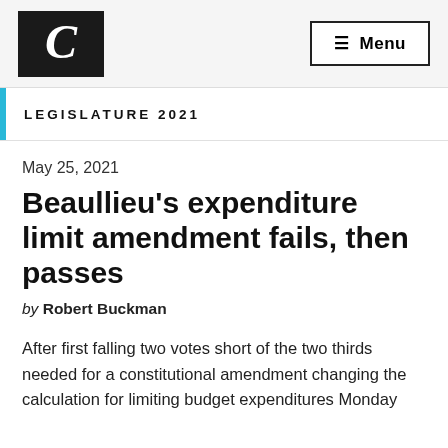C  ☰ Menu
LEGISLATURE 2021
May 25, 2021
Beaullieu's expenditure limit amendment fails, then passes
by Robert Buckman
After first falling two votes short of the two thirds needed for a constitutional amendment changing the calculation for limiting budget expenditures Monday